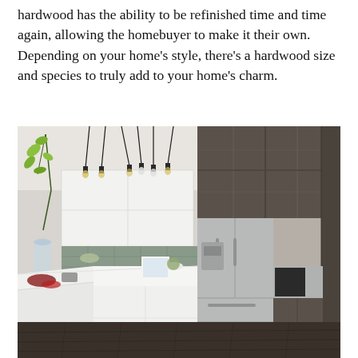hardwood has the ability to be refinished time and time again, allowing the homebuyer to make it their own. Depending on your home's style, there's a hardwood size and species to truly add to your home's charm.
[Figure (photo): Modern kitchen interior with dark wood upper cabinets, white lower cabinets, stainless steel French door refrigerator, pendant lights, tile backsplash, and dark hardwood flooring.]